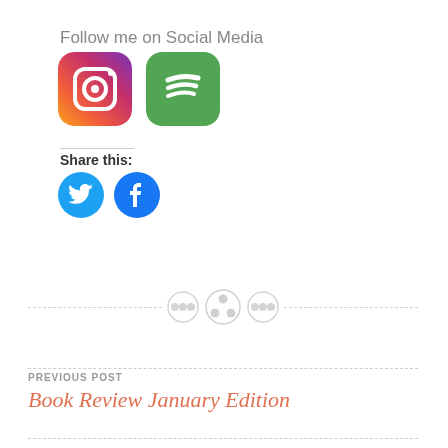Follow me on Social Media
[Figure (logo): Instagram app icon with gradient background]
[Figure (logo): Spotify app icon with green background]
Share this:
[Figure (logo): Twitter circular share button (blue)]
[Figure (logo): Facebook circular share button (blue)]
[Figure (other): Decorative divider with three button/circle icons and dashed lines]
PREVIOUS POST
Book Review January Edition